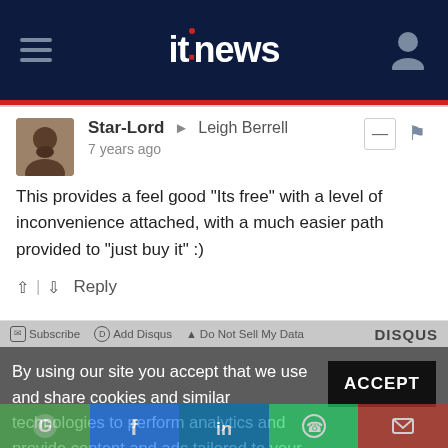itnews
Star-Lord → Leigh Berrell
7 years ago
This provides a feel good "Its free" with a level of inconvenience attached, with a much easier path provided to "just buy it" :)
↑ | ↓  Reply
Subscribe  Add Disqus  Do Not Sell My Data  DISQUS
By using our site you accept that we use and share cookies and similar technologies to perform analytics and provide content and ads tailored to your interests. By continuing to use our site, you consent to this. Please see our Cookie Policy for more information.